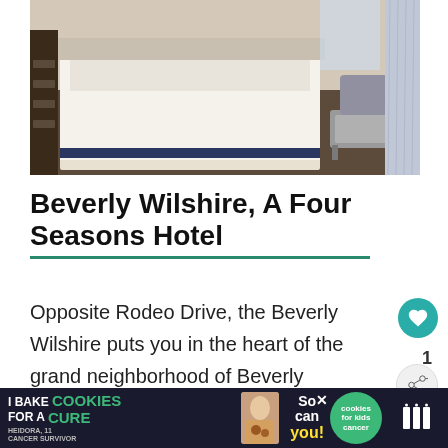[Figure (photo): Hotel room interior showing a neatly made bed with white linens, a dark wood dresser on the left, a gray upholstered ottoman and chair in the background, and striped curtains on the right. Hardwood floor visible.]
Beverly Wilshire, A Four Seasons Hotel
Opposite Rodeo Drive, the Beverly Wilshire puts you in the heart of the grand neighborhood of Beverly
The space comes with a Mediterranean-
[Figure (infographic): Advertisement banner: I Bake COOKIES For A CURE — So can you! with a cookies for kids cancer logo. A woman is pictured with cookies. Close button visible.]